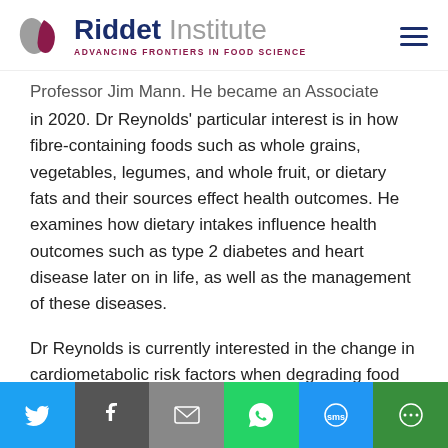[Figure (logo): Riddet Institute logo with leaf/teardrop icon and tagline 'Advancing Frontiers in Food Science']
Professor Jim Mann. He became an Associate Investigator in 2020. Dr Reynolds' particular interest is in how fibre-containing foods such as whole grains, vegetables, legumes, and whole fruit, or dietary fats and their sources effect health outcomes. He examines how dietary intakes influence health outcomes such as type 2 diabetes and heart disease later on in life, as well as the management of these diseases.
Dr Reynolds is currently interested in the change in cardiometabolic risk factors when degrading food structures of carbohydrate containing foods. He also explores how the
[Figure (infographic): Social media share bar with Twitter, Facebook, Email, WhatsApp, SMS, and More buttons]